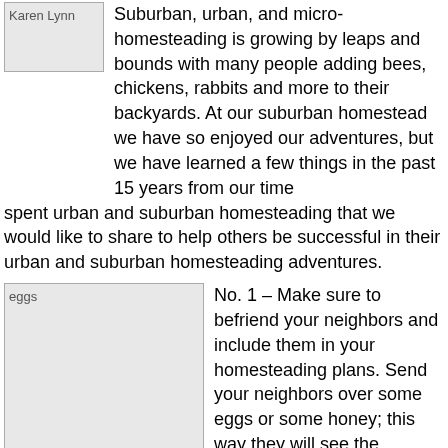[Figure (photo): Photo of Karen Lynn]
Suburban, urban, and micro-homesteading is growing by leaps and bounds with many people adding bees, chickens, rabbits and more to their backyards. At our suburban homestead we have so enjoyed our adventures, but we have learned a few things in the past 15 years from our time spent urban and suburban homesteading that we would like to share to help others be successful in their urban and suburban homesteading adventures.
[Figure (photo): Photo of eggs]
No. 1 – Make sure to befriend your neighbors and include them in your homesteading plans. Send your neighbors over some eggs or some honey; this way they will see the